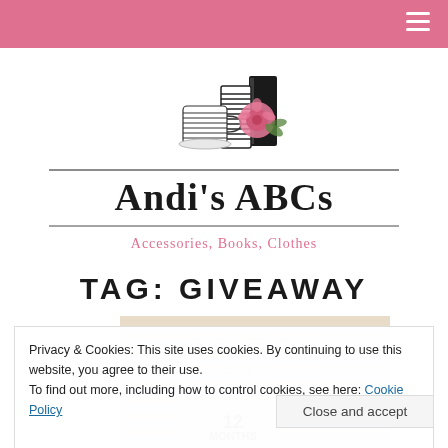[Figure (logo): Andi's ABCs blog logo with illustrated books, coffee mug, and pink rose. Text reads 'Andi's ABCs' and 'Accessories, Books, Clothes']
TAG: GIVEAWAY
[Figure (photo): Partial image of a book or planner showing '12 MONTHS' text on a pink card against a vintage paper background]
Privacy & Cookies: This site uses cookies. By continuing to use this website, you agree to their use.
To find out more, including how to control cookies, see here: Cookie Policy
Close and accept